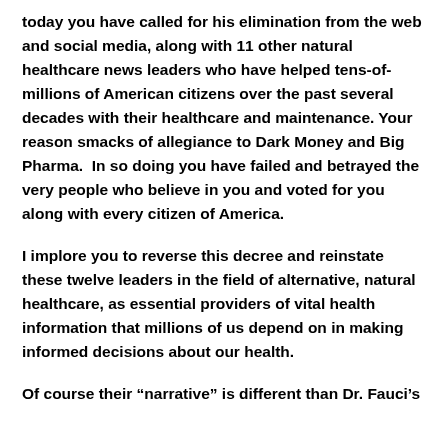today you have called for his elimination from the web and social media, along with 11 other natural healthcare news leaders who have helped tens-of-millions of American citizens over the past several decades with their healthcare and maintenance. Your reason smacks of allegiance to Dark Money and Big Pharma.  In so doing you have failed and betrayed the very people who believe in you and voted for you along with every citizen of America.
I implore you to reverse this decree and reinstate these twelve leaders in the field of alternative, natural healthcare, as essential providers of vital health information that millions of us depend on in making informed decisions about our health.
Of course their “narrative” is different than Dr. Fauci’s